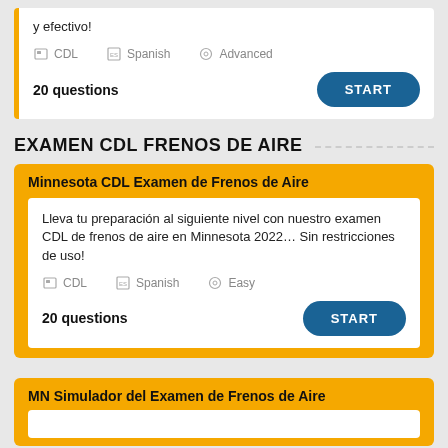y efectivo!
CDL   Spanish   Advanced
20 questions
EXAMEN CDL FRENOS DE AIRE
Minnesota CDL Examen de Frenos de Aire
Lleva tu preparación al siguiente nivel con nuestro examen CDL de frenos de aire en Minnesota 2022… Sin restricciones de uso!
CDL   Spanish   Easy
20 questions
MN Simulador del Examen de Frenos de Aire